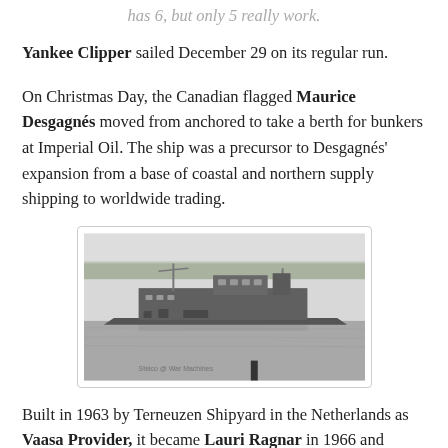has 6, but only 5 really work.
Yankee Clipper sailed December 29 on its regular run.
On Christmas Day, the Canadian flagged Maurice Desgagnés moved from anchored to take a berth for bunkers at Imperial Oil. The ship was a precursor to Desgagnés' expansion from a base of coastal and northern supply shipping to worldwide trading.
[Figure (photo): Black and white photograph of a cargo ship on the water, with a treeline visible on the far shore. The ship appears to be underway in calm water. A small watermark reads 'Stelco @ War Machines'.]
Built in 1963 by Terneuzen Shipyard in the Netherlands as Vaasa Provider, it became Lauri Ragnar in 1966 and Finnrunner in 1971. Desgagnés acquired the ship in 1972 to operate as Maurice Desgagnés. She later operated...